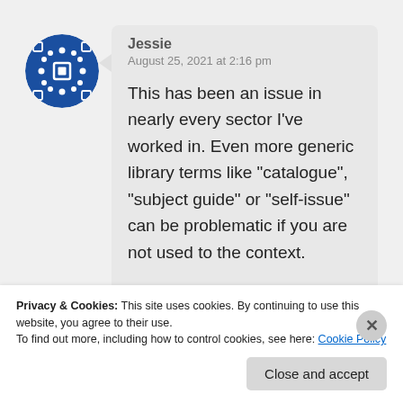[Figure (illustration): Blue circular avatar with white diamond/cross pattern on dark blue background]
Jessie
August 25, 2021 at 2:16 pm
This has been an issue in nearly every sector I’ve worked in. Even more generic library terms like “catalogue”, “subject guide” or “self-issue” can be problematic if you are not used to the context.

I wonder if some of the concepts
Privacy & Cookies: This site uses cookies. By continuing to use this website, you agree to their use.
To find out more, including how to control cookies, see here: Cookie Policy
Close and accept